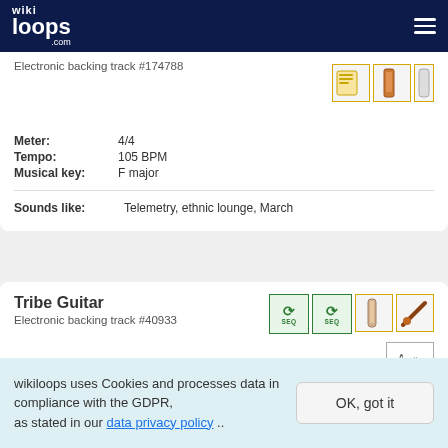wikiloops.com
Electronic backing track #174788
Meter: 4/4
Tempo: 105 BPM
Musical key: F major
Sounds like: Telemetry, ethnic lounge, March
Tribe Guitar
Electronic backing track #40933
wikiloops uses Cookies and processes data in compliance with the GDPR, as stated in our data privacy policy ..